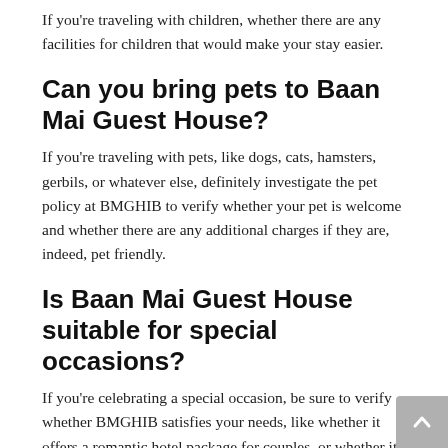If you're traveling with children, whether there are any facilities for children that would make your stay easier.
Can you bring pets to Baan Mai Guest House?
If you're traveling with pets, like dogs, cats, hamsters, gerbils, or whatever else, definitely investigate the pet policy at BMGHIB to verify whether your pet is welcome and whether there are any additional charges if they are, indeed, pet friendly.
Is Baan Mai Guest House suitable for special occasions?
If you're celebrating a special occasion, be sure to verify whether BMGHIB satisfies your needs, like whether it offers a romantic hotel package for couples, or whether it can accommodate group bookings if you're traveling with a lot of people.